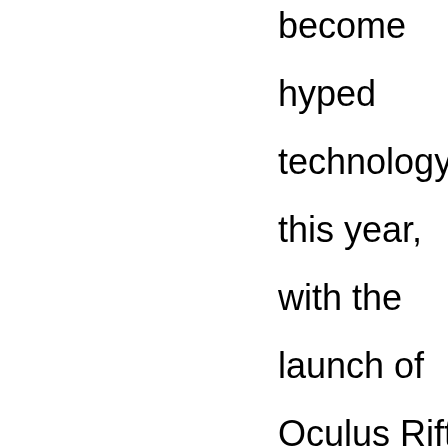become hyped technology this year, with the launch of Oculus Rift, HTC Vive and the upcoming PlayStation VR. There are a lot of possibilities for VR in education